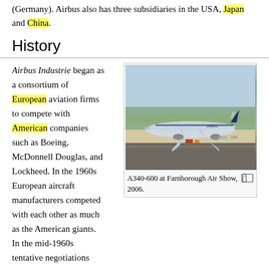(Germany). Airbus also has three subsidiaries in the USA, Japan and China.
History
Airbus Industrie began as a consortium of European aviation firms to compete with American companies such as Boeing, McDonnell Douglas, and Lockheed. In the 1960s European aircraft manufacturers competed with each other as much as the American giants. In the mid-1960s tentative negotiations commenced regarding a European collaborative approach.
[Figure (photo): A340-600 aircraft on a tarmac at Farnborough Air Show, 2006.]
A340-600 at Farnborough Air Show, 2006.
In September 1967 the German, French and British governments signed a Memorandum of understanding. In the months following this agreement both the French and British governments expressed doubts about the aircraft. Another problem was the requirement for a new engine (to be developed by Rolls-Royce, the RR207). In December 1968 the French